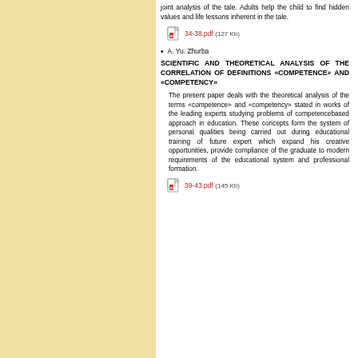joint analysis of the tale. Adults help the child to find hidden values and life lessons inherent in the tale.
[Figure (other): PDF file icon linking to 34-38.pdf (127 Kb)]
A. Yu. Zhurba
SCIENTIFIC AND THEORETICAL ANALYSIS OF THE CORRELATION OF DEFINITIONS «COMPETENCE» AND «COMPETENCY»
The present paper deals with the theoretical analysis of the terms «competence» and «competency» stated in works of the leading experts studying problems of competencebased approach in education. These concepts form the system of personal qualities being carried out during educational training of future expert which expand his creative opportunities, provide compliance of the graduate to modern requirements of the educational system and professional formation.
[Figure (other): PDF file icon linking to 39-43.pdf (145 Kb)]